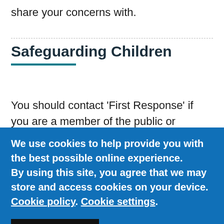share your concerns with.
Safeguarding Children
You should contact ‘First Response’ if you are a member of the public or professional and have
We use cookies to help provide you with the best possible online experience.
By using this site, you agree that we may store and access cookies on your device. Cookie policy. Cookie settings.
ACCEPT